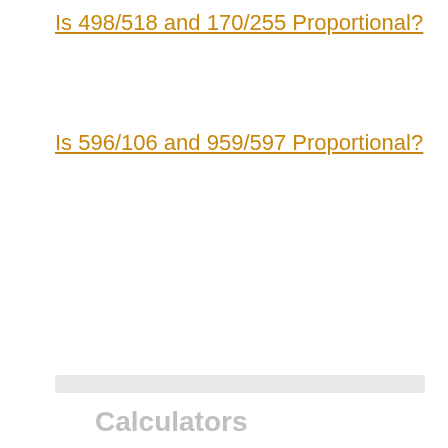Is 498/518 and 170/255 Proportional?
Is 596/106 and 959/597 Proportional?
Calculators